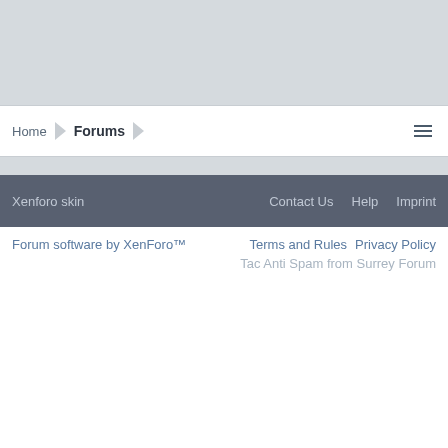Home › Forums ›
Xenforo skin    Contact Us    Help    Imprint
Forum software by XenForo™
Terms and Rules    Privacy Policy
Tac Anti Spam from Surrey Forum